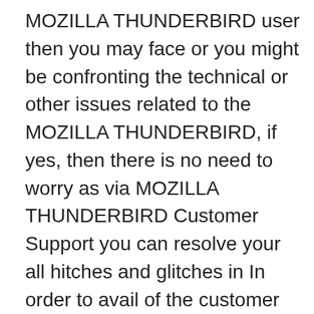MOZILLA THUNDERBIRD user then you may face or you might be confronting the technical or other issues related to the MOZILLA THUNDERBIRD, if yes, then there is no need to worry as via MOZILLA THUNDERBIRD Customer Support you can resolve your all hitches and glitches in In order to avail of the customer service you just need. Just solitary call. 1-844-695-5369 Mozilla Thunderbird Tech Support Phone Number Mozilla thunder is mainly used an email client, the user can receive messages from several email ids given if the recipient email address is synced with the software. You are currently viewing a snapshot of www.mozilla.org taken on April 21, 2008. Most of this content is highly out of date (some pages haven't been updated since the project began in 1998) and exists for historical purposes only. If there